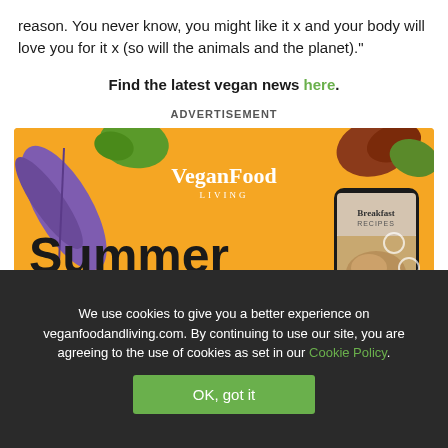reason. You never know, you might like it x and your body will love you for it x (so will the animals and the planet)."
Find the latest vegan news here.
ADVERTISEMENT
[Figure (illustration): Vegan Food & Living Summer Sale advertisement banner with orange background, tropical leaves, phone showing Breakfast Recipes magazine, large text 'Summer Sale', and '3 months' badge]
We use cookies to give you a better experience on veganfoodandliving.com. By continuing to use our site, you are agreeing to the use of cookies as set in our Cookie Policy.
OK, got it